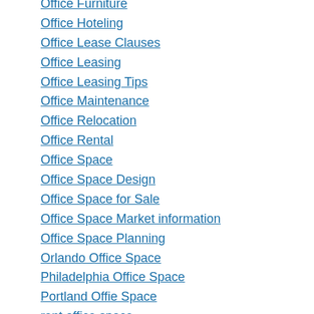Office Furniture
Office Hoteling
Office Lease Clauses
Office Leasing
Office Leasing Tips
Office Maintenance
Office Relocation
Office Rental
Office Space
Office Space Design
Office Space for Sale
Office Space Market information
Office Space Planning
Orlando Office Space
Philadelphia Office Space
Portland Offie Space
rent office space
San Francisco Office Space
Seattle Office Space